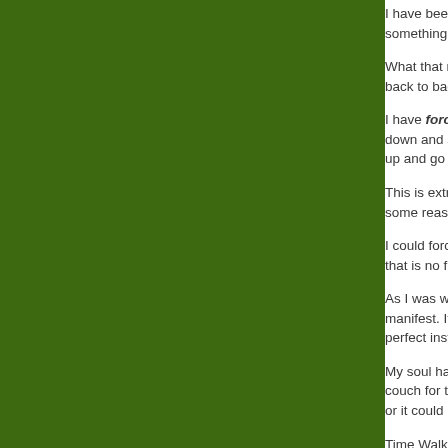[Figure (other): Large dark olive/forest green rectangular panel occupying the left ~85% of the page]
I have been so sta... something to be br...

What that means is... back to back and n...

I have forced myse... down and staring a... up and go back to...

This is extremely fr... some reason I am...

I could force it‍‍—f... that is no fun for m...

As I was wrestling... manifest. It happen... perfect instant, but...

My soul has been t... couch for the comp... or it could be I am...

Time Walker will ge...

In the meantime, I...